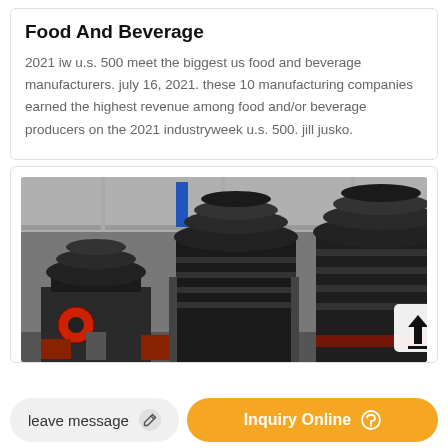Food And Beverage
2021 iw u.s. 500 meet the biggest us food and beverage manufacturers. july 16, 2021. these 10 manufacturing companies earned the highest revenue among food and/or beverage producers on the 2021 industryweek u.s. 500. jill jusko.
[Figure (photo): Industrial manufacturing machines (cone crushers / heavy machinery) in a factory/warehouse setting, black and white with red accents, with a share/upload button overlay in the bottom right corner.]